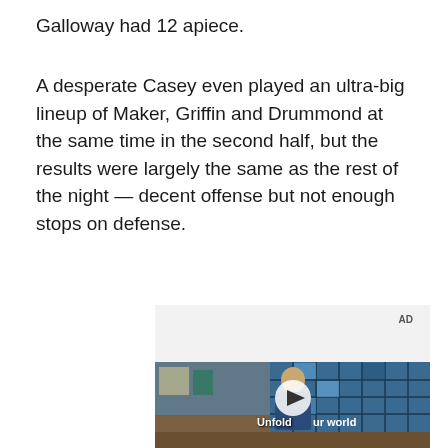Galloway had 12 apiece.
A desperate Casey even played an ultra-big lineup of Maker, Griffin and Drummond at the same time in the second half, but the results were largely the same as the rest of the night — decent offense but not enough stops on defense.
[Figure (other): Advertisement video player showing a young man standing in what appears to be a cafeteria or food court with blue-tiled walls and a play button overlay with the text 'Unfold your world'. An 'AD' label appears in the upper right of the ad container.]